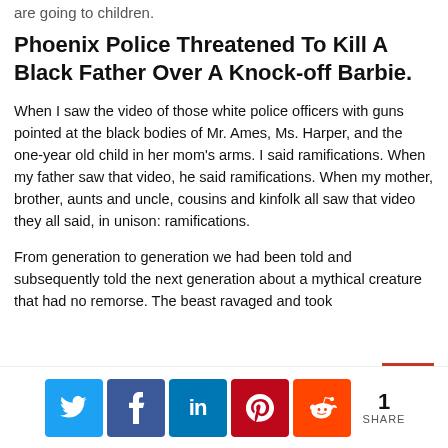are going to children.
Phoenix Police Threatened To Kill A Black Father Over A Knock-off Barbie.
When I saw the video of those white police officers with guns pointed at the black bodies of Mr. Ames, Ms. Harper, and the one-year old child in her mom's arms. I said ramifications. When my father saw that video, he said ramifications. When my mother, brother, aunts and uncle, cousins and kinfolk all saw that video they all said, in unison: ramifications.
From generation to generation we had been told and subsequently told the next generation about a mythical creature that had no remorse. The beast ravaged and took
[Figure (infographic): Social media share buttons: Twitter (blue), Facebook (dark blue), LinkedIn (blue), Pinterest (red), Reddit (orange). Share count shows 1 SHARE.]